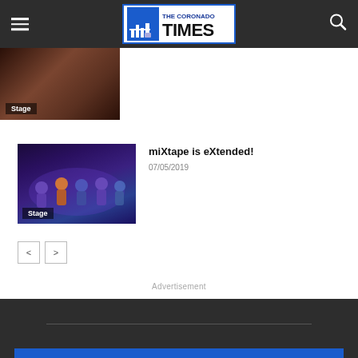The Coronado Times
[Figure (photo): Partial article card with dark theater/stage photo labeled Stage]
[Figure (photo): Article card with photo of group of people on stage in colorful shirts, labeled Stage]
miXtape is eXtended!
07/05/2019
< >
Advertisement